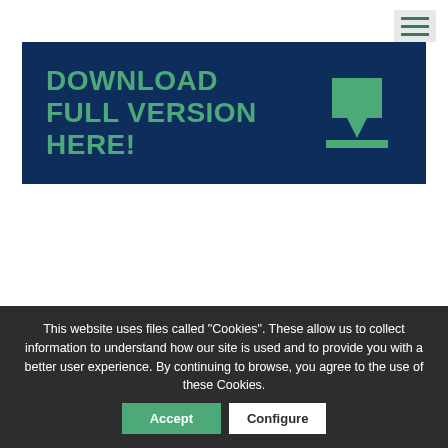[Figure (other): Hamburger menu icon (three green horizontal lines on light grey background) in top right corner]
[Figure (other): Dark navy blue download banner with bold green text 'DOWNLOAD FULL VERSION HERE!' and a green download arrow icon on the right]
For downloading a preview of the study click the link below!
This website uses files called "Cookies". These allow us to collect information to understand how our site is used and to provide you with a better user experience. By continuing to browse, you agree to the use of these Cookies.